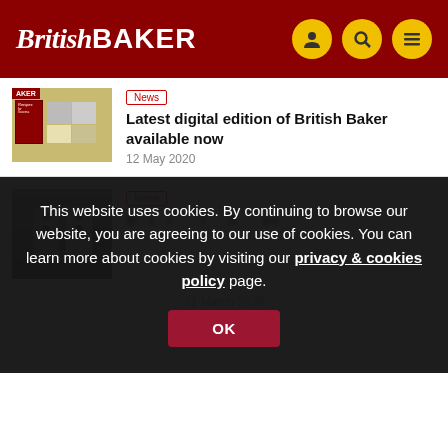British Baker
News
Latest digital edition of British Baker available now
12 May 2020
News
This website uses cookies. By continuing to browse our website, you are agreeing to our use of cookies. You can learn more about cookies by visiting our privacy & cookies policy page.
OK
31 March 2020